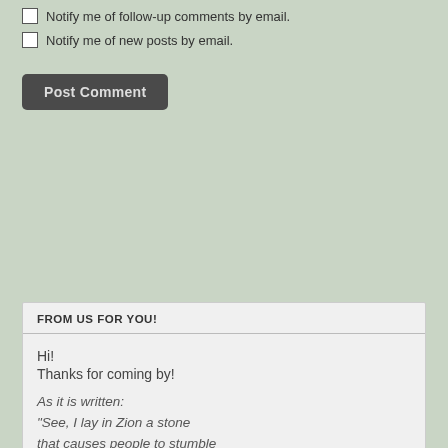Notify me of follow-up comments by email.
Notify me of new posts by email.
Post Comment
FROM US FOR YOU!
Hi!
Thanks for coming by!

As it is written:
“See, I lay in Zion a stone that causes people to stumble and a rock that makes them fall, and the one who believes in Him will not be disappointed.”
~ Romans 9:33 (Isaiah 28:16)